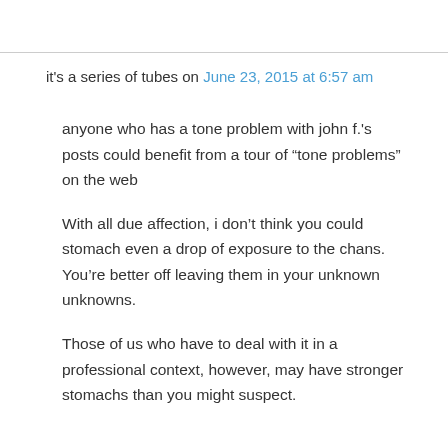it's a series of tubes on June 23, 2015 at 6:57 am
anyone who has a tone problem with john f.'s posts could benefit from a tour of “tone problems” on the web
With all due affection, i don’t think you could stomach even a drop of exposure to the chans. You’re better off leaving them in your unknown unknowns.
Those of us who have to deal with it in a professional context, however, may have stronger stomachs than you might suspect.